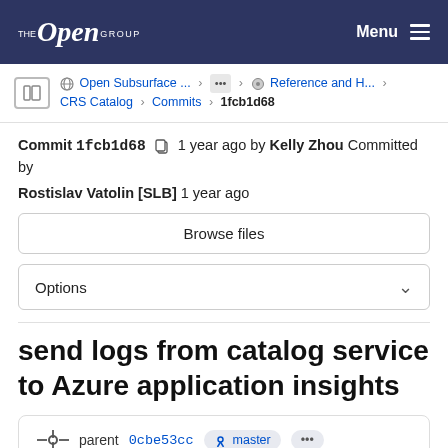THE Open GROUP | Menu
Open Subsurface ... > ... > Reference and H... > CRS Catalog > Commits > 1fcb1d68
Commit 1fcb1d68 1 year ago by Kelly Zhou Committed by Rostislav Vatolin [SLB] 1 year ago
Browse files
Options
send logs from catalog service to Azure application insights
parent 0cbe53cc master ...